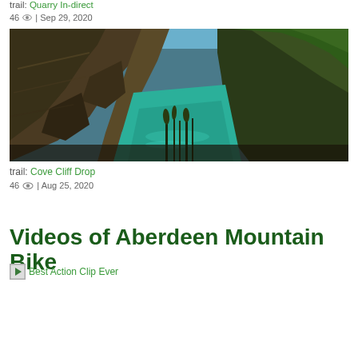trail: Quarry In-direct
46 👁 | Sep 29, 2020
[Figure (photo): Photograph of a rocky coastal cliff cove with turquoise-green water below and green vegetation on the right side]
trail: Cove Cliff Drop
46 👁 | Aug 25, 2020
Videos of Aberdeen Mountain Bike
Best Action Clip Ever